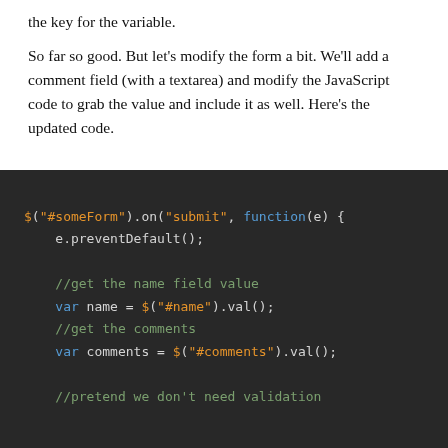the key for the variable.
So far so good. But let's modify the form a bit. We'll add a comment field (with a textarea) and modify the JavaScript code to grab the value and include it as well. Here's the updated code.
[Figure (screenshot): Dark-themed code editor showing jQuery form submit handler with syntax highlighting. Code includes: $("#someForm").on("submit", function(e) { e.preventDefault(); //get the name field value var name = $("#name").val(); //get the comments var comments = $("#comments").val(); //pretend we don't need validation]